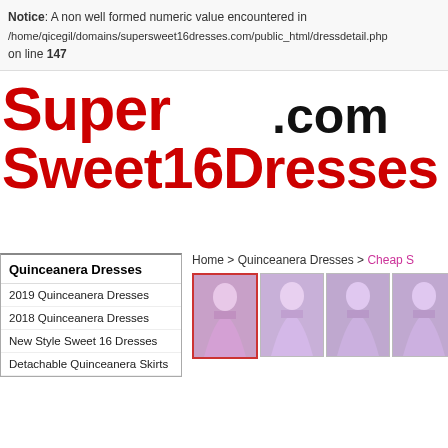Notice: A non well formed numeric value encountered in /home/qicegil/domains/supersweet16dresses.com/public_html/dressdetail.php on line 147
[Figure (logo): SuperSweet16Dresses.com logo with red bold text 'Super Sweet16Dresses' and black '.com']
Quinceanera Dresses
2019 Quinceanera Dresses
2018 Quinceanera Dresses
New Style Sweet 16 Dresses
Detachable Quinceanera Skirts
Home > Quinceanera Dresses > Cheap S...
[Figure (photo): Four thumbnail images of pink/lavender quinceanera ball gowns]